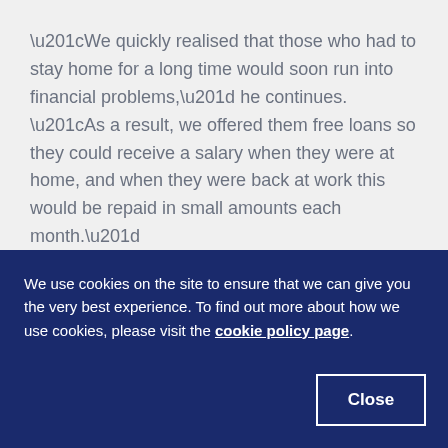“We quickly realised that those who had to stay home for a long time would soon run into financial problems,” he continues. “As a result, we offered them free loans so they could receive a salary when they were at home, and when they were back at work this would be repaid in small amounts each month.”
As a means of making cargo transfer operations in port as COVID-secure as possible, a ship-shore safety checklist was
We use cookies on the site to ensure that we can give you the very best experience. To find out more about how we use cookies, please visit the cookie policy page.